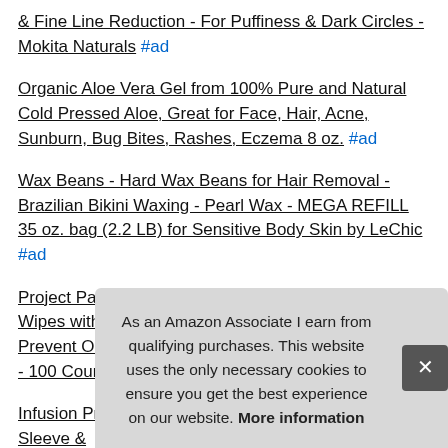& Fine Line Reduction - For Puffiness & Dark Circles - Mokita Naturals #ad
Organic Aloe Vera Gel from 100% Pure and Natural Cold Pressed Aloe, Great for Face, Hair, Acne, Sunburn, Bug Bites, Rashes, Eczema 8 oz. #ad
Wax Beans - Hard Wax Beans for Hair Removal - Brazilian Bikini Waxing - Pearl Wax - MEGA REFILL 35 oz. bag (2.2 LB) for Sensitive Body Skin by LeChic #ad
Project Paws Dogs Ear Wipes - Dog Ear Cleaner Wipes with Aloe and Eucalyptus to Soothe Ears and Prevent Odor, Itching, Mites, Yeast and Ear Infections - 100 Count #ad
Infusion Pro 32 oz. Water Infuser Bottles Insulated Sleeve & Infu Flav Wat
As an Amazon Associate I earn from qualifying purchases. This website uses the only necessary cookies to ensure you get the best experience on our website. More information